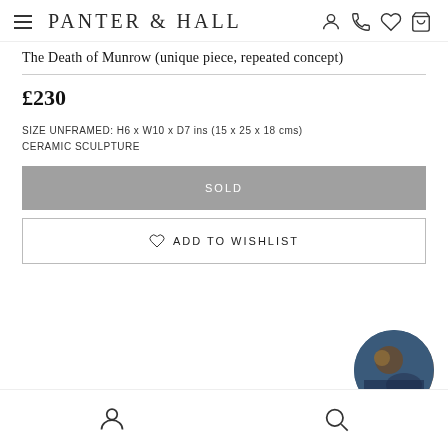PANTER & HALL
The Death of Munrow (unique piece, repeated concept)
£230
SIZE UNFRAMED: H6 x W10 x D7 ins (15 x 25 x 18 cms)
CERAMIC SCULPTURE
SOLD
ADD TO WISHLIST
[Figure (photo): Circular thumbnail of artwork at bottom right, partially visible]